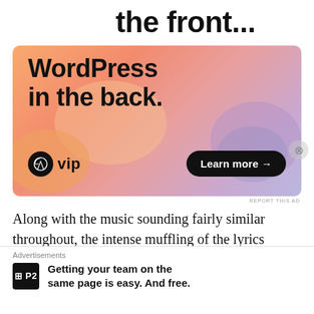the front...
[Figure (screenshot): WordPress VIP advertisement banner with colorful gradient background (orange, peach, pink, purple). Shows text 'WordPress in the back.' with WordPress VIP logo on lower left and 'Learn more →' button on lower right.]
REPORT THIS AD
Along with the music sounding fairly similar throughout, the intense muffling of the lyrics (due, no doubt, to the low fidelity recording practices the band favors) fade into the background of the song far too often. And while this technique isn't without its charm and benefits, it does leave the
Advertisements
Getting your team on the same page is easy. And free.